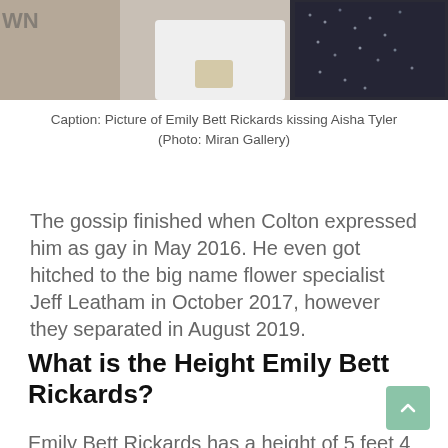[Figure (photo): Partial photo of two people at an event — one wearing white and one wearing a black sequined dress, cropped at the top]
Caption: Picture of Emily Bett Rickards kissing Aisha Tyler (Photo: Miran Gallery)
The gossip finished when Colton expressed him as gay in May 2016. He even got hitched to the big name flower specialist Jeff Leatham in October 2017, however they separated in August 2019.
What is the Height Emily Bett Rickards?
Emily Bett Rickards has a height of 5 feet 4